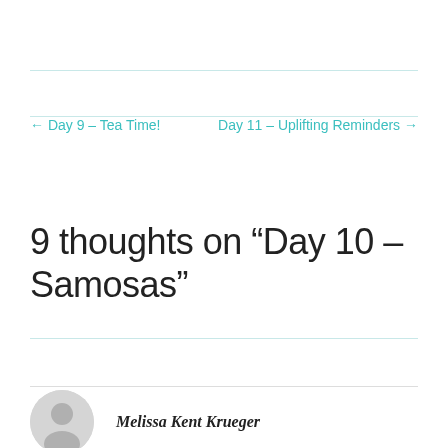← Day 9 – Tea Time!
Day 11 – Uplifting Reminders →
9 thoughts on “Day 10 – Samosas”
Melissa Kent Krueger